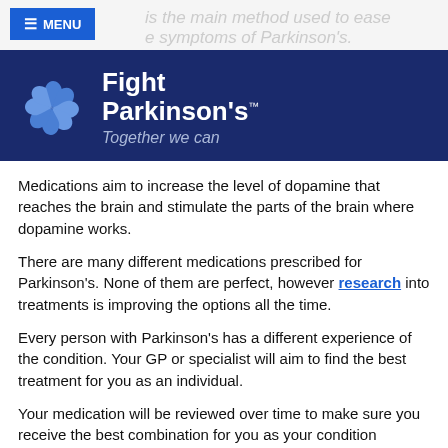≡ MENU
[Figure (logo): Fight Parkinson's logo with blue pinwheel icon and text 'Fight Parkinson's™' on dark blue banner, with tagline 'Together we can']
Medications aim to increase the level of dopamine that reaches the brain and stimulate the parts of the brain where dopamine works.
There are many different medications prescribed for Parkinson's. None of them are perfect, however research into treatments is improving the options all the time.
Every person with Parkinson's has a different experience of the condition. Your GP or specialist will aim to find the best treatment for you as an individual.
Your medication will be reviewed over time to make sure you receive the best combination for you as your condition